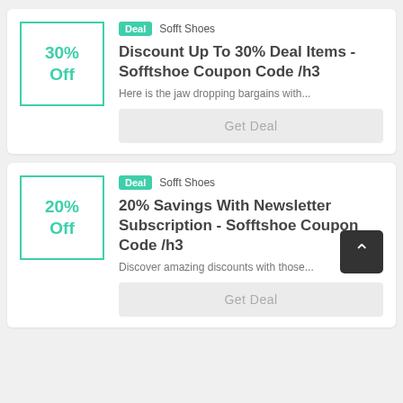[Figure (screenshot): Coupon card 1: 30% Off box with teal border]
Discount Up To 30% Deal Items  - Sofftshoe Coupon Code /h3
Here is the jaw dropping bargains with...
Get Deal
[Figure (screenshot): Coupon card 2: 20% Off box with teal border]
20% Savings With Newsletter Subscription  - Sofftshoe Coupon Code /h3
Discover amazing discounts with those...
Get Deal